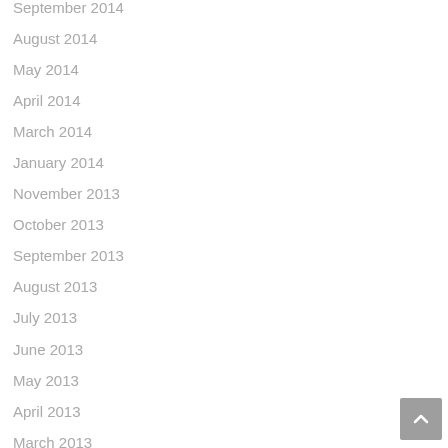September 2014
August 2014
May 2014
April 2014
March 2014
January 2014
November 2013
October 2013
September 2013
August 2013
July 2013
June 2013
May 2013
April 2013
March 2013
February 2013
December 2012
November 2012
October 2012